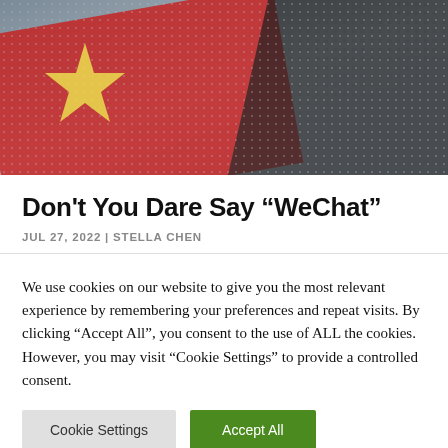[Figure (photo): Photo of a person in a dark hoodie holding a red Chinese flag with a yellow star, shown from below with a blurred background.]
Don’t You Dare Say “WeChat”
JUL 27, 2022 | STELLA CHEN
We use cookies on our website to give you the most relevant experience by remembering your preferences and repeat visits. By clicking “Accept All”, you consent to the use of ALL the cookies. However, you may visit "Cookie Settings" to provide a controlled consent.
Cookie Settings | Accept All